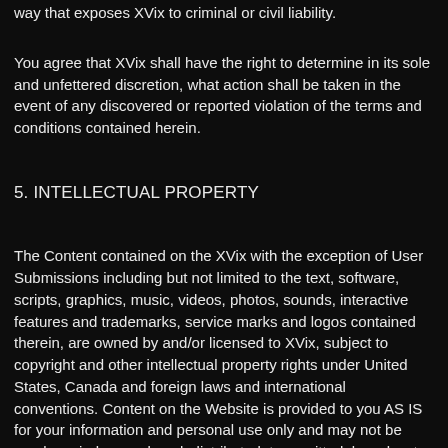way that exposes XVix to criminal or civil liability.
You agree that XVix shall have the right to determine in its sole and unfettered discretion, what action shall be taken in the event of any discovered or reported violation of the terms and conditions contained herein.
5. INTELLECTUAL PROPERTY
The Content contained on the XVix with the exception of User Submissions including but not limited to the text, software, scripts, graphics, music, videos, photos, sounds, interactive features and trademarks, service marks and logos contained therein, are owned by and/or licensed to XVix, subject to copyright and other intellectual property rights under United States, Canada and foreign laws and international conventions. Content on the Website is provided to you AS IS for your information and personal use only and may not be used, copied, reproduced, distributed, transmitted, broadcast, displayed, sold, licensed, or otherwise exploited for any other purposes whatsoever without the prior written consent of the respective owners. XVix reserves all rights not expressly granted in and to the Website and the Content. You agree to not engage in the use, copying, or distribution of any of the Content other than expressly permitted herein, including any use, serving, and/or distribution of